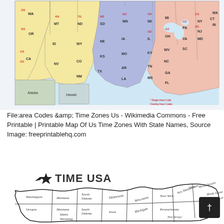[Figure (map): Map of US area codes and time zones with state outlines colored by time zone (yellow for Pacific/Mountain, blue/purple for Central, pink/peach for Eastern), with area codes labeled and insets for Alaska and Hawaii.]
File:area Codes &amp; Time Zones Us - Wikimedia Commons - Free Printable | Printable Map Of Us Time Zones With State Names, Source Image: freeprintablehq.com
[Figure (map): Outline map of the United States labeled 'TIME USA' with a star logo, showing state names in handwritten-style text including Washington, Oregon, Idaho, Wyoming, Montana, North Dakota, South Dakota, Iowa, Michigan, Wisconsin, New York, Pennsylvania, New Hampshire, Vermont, Massachusetts, Rhode Island, Connecticut, and others visible.]